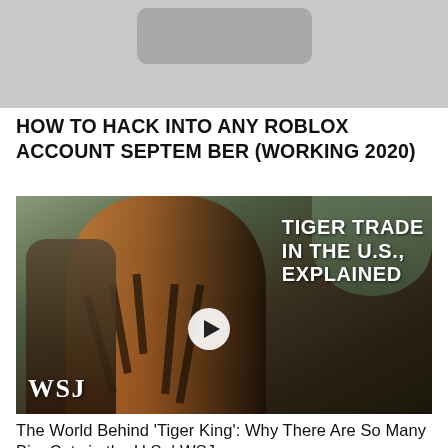[Figure (screenshot): Gray thumbnail image at top, showing a rounded rectangle shape suggesting a phone or device screen cropped at top]
HOW TO HACK INTO ANY ROBLOX ACCOUNT SEPTEMBER (WORKING 2020)
[Figure (photo): WSJ video thumbnail showing a man interacting with a large tiger, with text overlay 'TIGER TRADE IN THE U.S., EXPLAINED' and WSJ logo, and a play button circle]
The World Behind 'Tiger King': Why There Are So Many Big Cats in the U.S. | WSJ